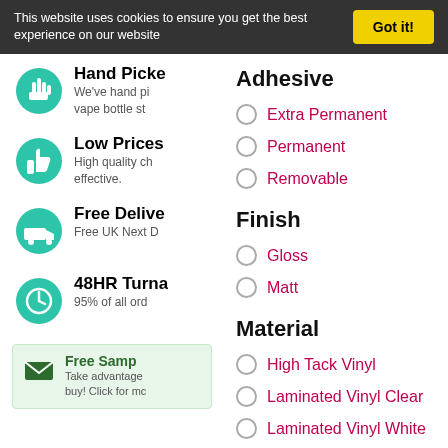This website uses cookies to ensure you get the best experience on our website
Got it!
Adhesive
Extra Permanent
Permanent
Removable
Finish
Gloss
Matt
Material
High Tack Vinyl
Laminated Vinyl Clear
Laminated Vinyl White
Hand Picke
We've hand pi vape bottle st
Low Prices
High quality ch effective.
Free Delive
Free UK Next D
48HR Turna
95% of all ord
Free Samp
Take advantage buy! Click for mc